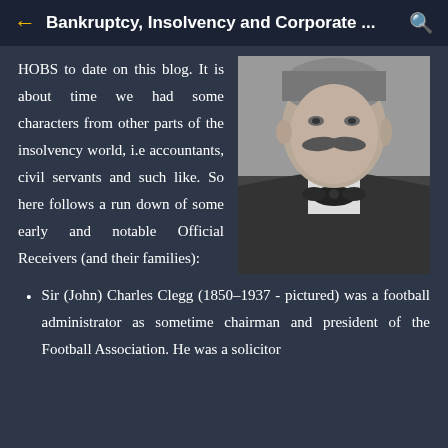Bankruptcy, Insolvency and Corporate ...
HOBS to date on this blog. It is about time we had some characters from other parts of the insolvency world, i.e accountants, civil servants and such like. So here follows a run down of some early and notable Official Receivers (and their families):
[Figure (photo): Black and white portrait photograph of a man with a mustache wearing a dark suit and bow tie, identified as Sir (John) Charles Clegg (1850-1937)]
Sir (John) Charles Clegg (1850–1937 - pictured) was a football administrator as sometime chairman and president of the Football Association. He was a solicitor